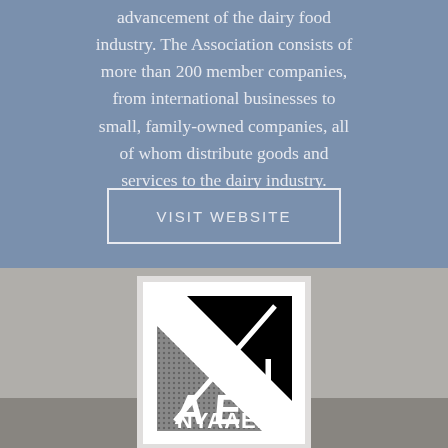advancement of the dairy food industry. The Association consists of more than 200 member companies, from international businesses to small, family-owned companies, all of whom distribute goods and services to the dairy industry.
VISIT WEBSITE
[Figure (logo): AEI logo: a square black and white graphic showing a triangle and letters AEI]
NYAAEL